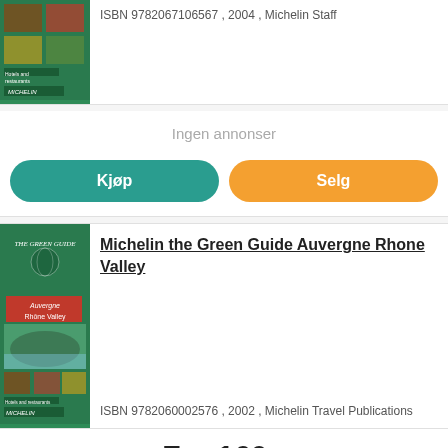[Figure (illustration): Michelin Green Guide book cover (top, partial) with green background, book collage imagery, and Michelin logo]
ISBN 9782067106567 , 2004 , Michelin Staff
Ingen annonser
Kjøp
Selg
[Figure (illustration): Michelin the Green Guide Auvergne Rhone Valley book cover with green background, red banner reading Auvergne Rhône Valley, landscape photo, collage imagery, and Michelin logo]
Michelin the Green Guide Auvergne Rhone Valley
ISBN 9782060002576 , 2002 , Michelin Travel Publications
Fra 160,-